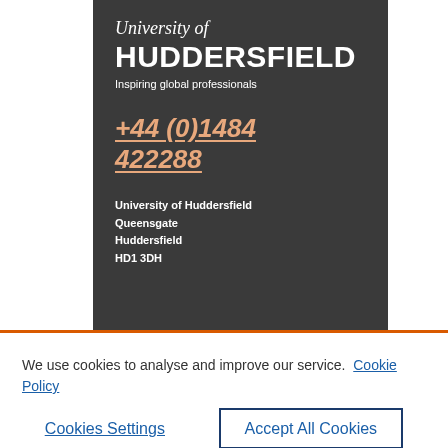[Figure (logo): University of Huddersfield logo on dark background with tagline 'Inspiring global professionals', phone number +44 (0)1484 422288, and address lines]
We use cookies to analyse and improve our service. Cookie Policy
Cookies Settings
Accept All Cookies